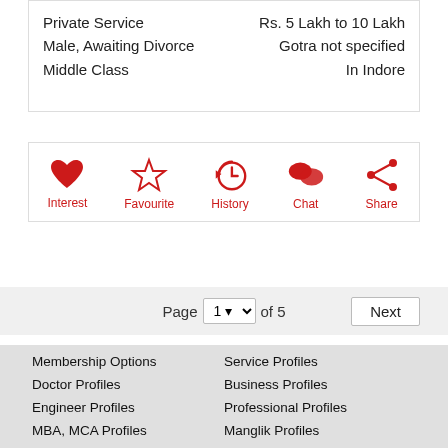Private Service | Rs. 5 Lakh to 10 Lakh
Male, Awaiting Divorce | Gotra not specified
Middle Class | In Indore
[Figure (infographic): Action icons row: Interest (heart), Favourite (star), History (clock with arrow), Chat (speech bubble), Share (share icon). All icons in dark red with labels below.]
Page 1 of 5  Next
Membership Options
Service Profiles
Doctor Profiles
Business Profiles
Engineer Profiles
Professional Profiles
MBA, MCA Profiles
Manglik Profiles
CA, CS, ICWA Profiles
Remarriage Profiles
Graduate Profiles
NRI Profiles
Kundali Milan
Success Stories
Contact Us
Share Success Story
About Us
Report Service Issue
FAQ